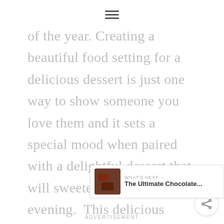≡
of the year. Creating a beautiful food setting for a delicious dessert is just one way to show someone you love them and it sets a special mood when paired with a delightful dessert that will sweeten everyone's evening.  This delicious White Chocolate Brandy Cheesecake recipe will be the perfect sweet treat for your special evening.
WHAT'S NEXT → The Ultimate Chocolate...
ADVERTISEMENT